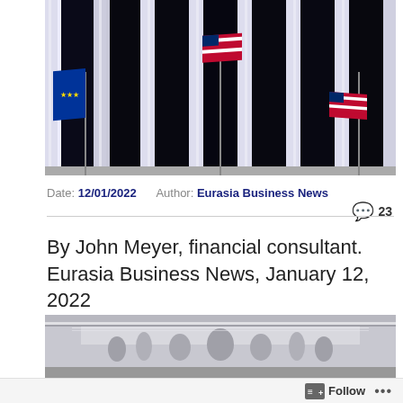[Figure (photo): Photograph of a neoclassical building facade with large columns and American flags hanging between them, likely a financial exchange building such as the New York Stock Exchange.]
Date: 12/01/2022   Author: Eurasia Business News
💬 23
By John Meyer, financial consultant. Eurasia Business News, January 12, 2022
[Figure (photo): Photograph of the top pediment of a neoclassical building with classical sculptures visible.]